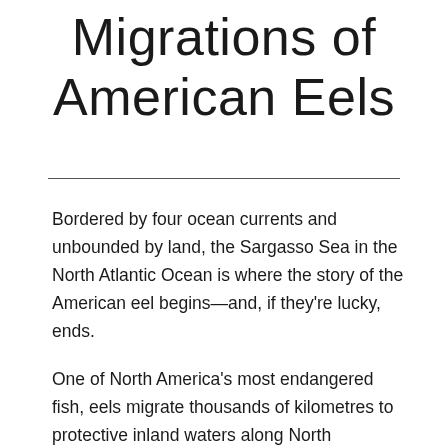Migrations of American Eels
Bordered by four ocean currents and unbounded by land, the Sargasso Sea in the North Atlantic Ocean is where the story of the American eel begins—and, if they're lucky, ends.
One of North America's most endangered fish, eels migrate thousands of kilometres to protective inland waters along North America's eastern seaboard and mature for 10 to 25 years before beginning a perilous migration back to the Sargasso Sea, where adults die